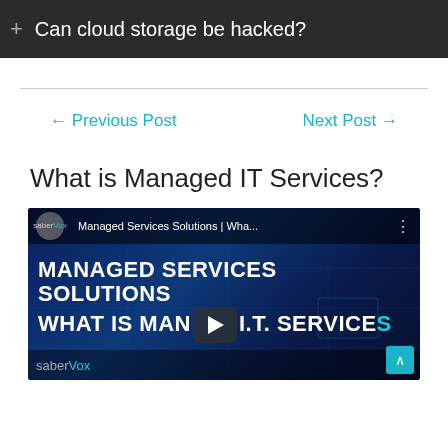+ Can cloud storage be hacked?
← Previous Post
Next Post →
What is Managed IT Services?
[Figure (screenshot): YouTube video thumbnail for 'Managed Services Solutions | Wha...' by saberVox channel, showing text 'MANAGED SERVICES SOLUTIONS WHAT IS MANAGED I.T. SERVICES' in bold white on a dark blue background with a play button overlay.]